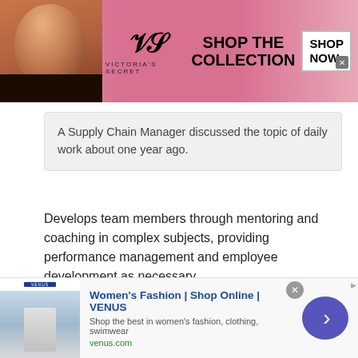[Figure (other): Victoria's Secret advertisement banner with model, VS logo, 'SHOP THE COLLECTION' text, and 'SHOP NOW' button]
A Supply Chain Manager discussed the topic of daily work about one year ago.
Develops team members through mentoring and coaching in complex subjects, providing performance management and employee development as necessary.
12/20/2020
This site uses cookies and other similar technologies to provide site functionality, analyze traffic and usage, and
[Figure (other): VENUS Women's Fashion advertisement banner with thumbnail image, title 'Women's Fashion | Shop Online | VENUS', subtitle, venus.com URL, and navigation arrow button]